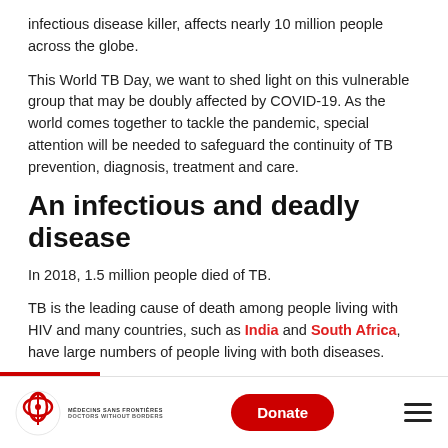infectious disease killer, affects nearly 10 million people across the globe.
This World TB Day, we want to shed light on this vulnerable group that may be doubly affected by COVID-19. As the world comes together to tackle the pandemic, special attention will be needed to safeguard the continuity of TB prevention, diagnosis, treatment and care.
An infectious and deadly disease
In 2018, 1.5 million people died of TB.
TB is the leading cause of death among people living with HIV and many countries, such as India and South Africa, have large numbers of people living with both diseases.
Médecins Sans Frontières / Doctors Without Borders | Donate